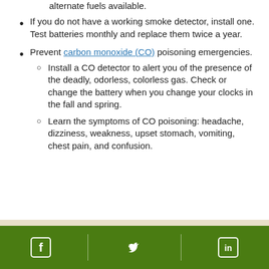alternate fuels available.
If you do not have a working smoke detector, install one. Test batteries monthly and replace them twice a year.
Prevent carbon monoxide (CO) poisoning emergencies.
Install a CO detector to alert you of the presence of the deadly, odorless, colorless gas. Check or change the battery when you change your clocks in the fall and spring.
Learn the symptoms of CO poisoning: headache, dizziness, weakness, upset stomach, vomiting, chest pain, and confusion.
Social media links: Facebook, Twitter, LinkedIn